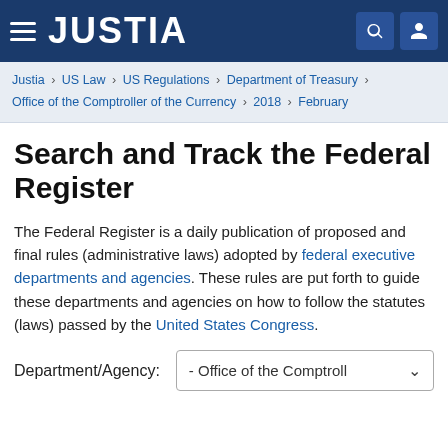JUSTIA
Justia › US Law › US Regulations › Department of Treasury › Office of the Comptroller of the Currency › 2018 › February
Search and Track the Federal Register
The Federal Register is a daily publication of proposed and final rules (administrative laws) adopted by federal executive departments and agencies. These rules are put forth to guide these departments and agencies on how to follow the statutes (laws) passed by the United States Congress.
Department/Agency: - Office of the Comptroll